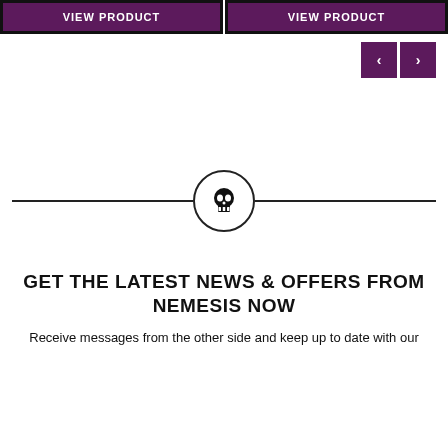VIEW PRODUCT | VIEW PRODUCT
[Figure (screenshot): Two purple 'VIEW PRODUCT' buttons side by side with black borders, and navigation arrow buttons (< >) on the right]
[Figure (illustration): Horizontal divider line with a circle containing a skull icon in the center]
GET THE LATEST NEWS & OFFERS FROM NEMESIS NOW
Receive messages from the other side and keep up to date with our